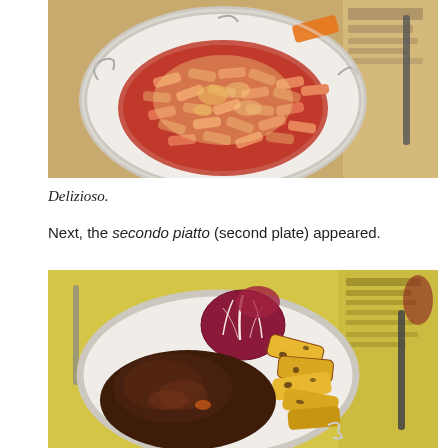[Figure (photo): A white plate with penne pasta in red tomato sauce topped with grated parmesan cheese, with an orange garnish visible. Restaurant setting with a menu visible in the background to the right.]
Delizioso.
Next, the secondo piatto (second plate) appeared.
[Figure (photo): A white plate with a braised meat dish, roasted potato wedges, and a red radicchio leaf garnish. Yellow restaurant tablecloth and menu visible in the background.]